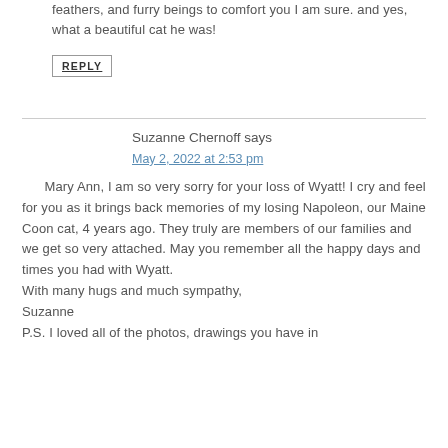feathers, and furry beings to comfort you I am sure. and yes, what a beautiful cat he was!
REPLY
Suzanne Chernoff says
May 2, 2022 at 2:53 pm
Mary Ann, I am so very sorry for your loss of Wyatt! I cry and feel for you as it brings back memories of my losing Napoleon, our Maine Coon cat, 4 years ago. They truly are members of our families and we get so very attached. May you remember all the happy days and times you had with Wyatt.
With many hugs and much sympathy,
Suzanne
P.S. I loved all of the photos, drawings you have in